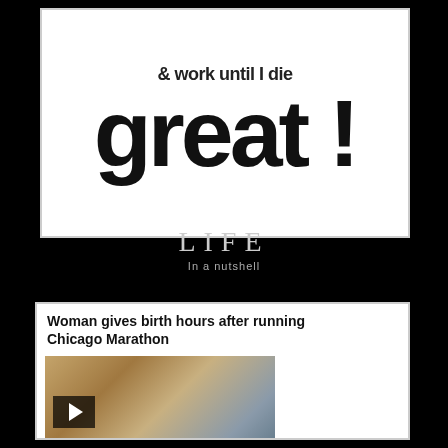[Figure (infographic): Motivational poster on black background. White box with bold text '& work until I die' in dark gray/black, and below in huge black bold font 'great !' Below the white poster box, on the black background, text reads 'LIFE' in large serif letters and 'In a nutshell' in smaller text.]
[Figure (screenshot): News article screenshot on black background. White box with headline 'Woman gives birth hours after running Chicago Marathon' and a photo of a smiling blonde woman in a blue shirt, with a man in medical scrubs visible behind her. A video play button overlay is visible on the photo.]